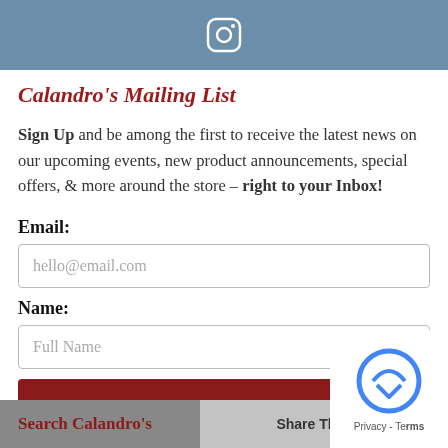[Figure (other): Instagram icon on blue-grey banner background]
Calandro's Mailing List
Sign Up and be among the first to receive the latest news on our upcoming events, new product announcements, special offers, & more around the store – right to your Inbox!
Email:
hello@email.com
Name:
Full Name
Submit
Search Calandro's  Share This